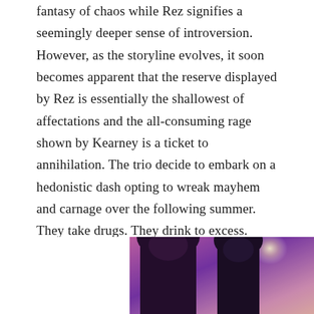fantasy of chaos while Rez signifies a seemingly deeper sense of introversion. However, as the storyline evolves, it soon becomes apparent that the reserve displayed by Rez is essentially the shallowest of affectations and the all-consuming rage shown by Kearney is a ticket to annihilation. The trio decide to embark on a hedonistic dash opting to wreak mayhem and carnage over the following summer. They take drugs. They drink to excess. They vandalise and cause material harm to others. It is a wanton, endless foray into self-indulgent debauchery.
[Figure (photo): A photograph showing two people in a dark, atmospheric setting with purple and pink tones, likely at a party or nightclub, with bright light visible in the background.]